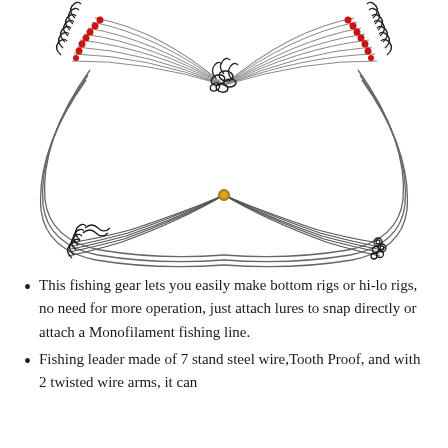[Figure (photo): Product photo of fishing wire leaders with steel wire, red beads, snap swivels, and twisted wire arms arranged in a fanned display on white background.]
This fishing gear lets you easily make bottom rigs or hi-lo rigs, no need for more operation, just attach lures to snap directly or attach a Monofilament fishing line.
Fishing leader made of 7 stand steel wire,Tooth Proof, and with 2 twisted wire arms, it can